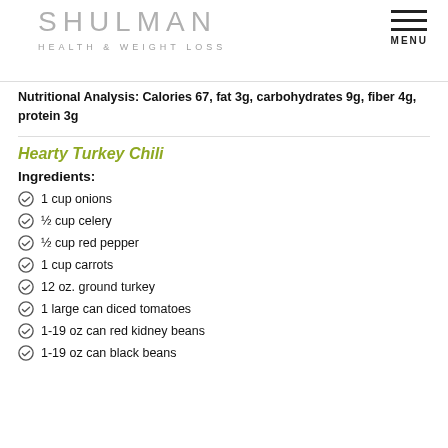SHULMAN HEALTH & WEIGHT LOSS
Nutritional Analysis: Calories 67, fat 3g, carbohydrates 9g, fiber 4g, protein 3g
Hearty Turkey Chili
Ingredients:
1 cup onions
½ cup celery
½ cup red pepper
1 cup carrots
12 oz. ground turkey
1 large can diced tomatoes
1-19 oz can red kidney beans
1-19 oz can black beans